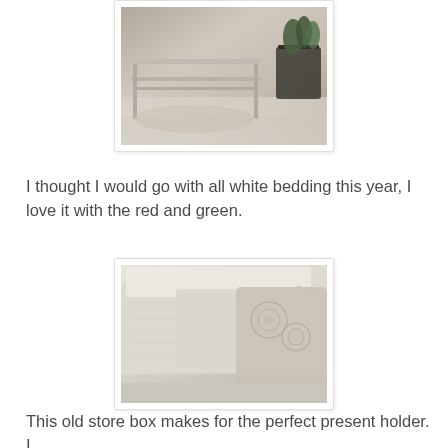[Figure (photo): Photo of a white painted wooden furniture piece (possibly a bench or low table) on a light wood floor, with a dark wire basket plant holder containing a green plant to the right.]
I thought I would go with all white bedding this year, I love it with the red and green.
[Figure (photo): Close-up photo of white and cream-colored bedding with pillows, including a decorative knitted/crocheted pillow on the right.]
This old store box makes for the perfect present holder. I